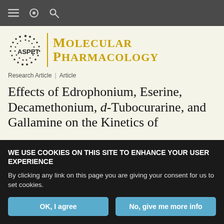Navigation bar with menu, settings, and search icons
[Figure (logo): ASPET Molecular Pharmacology journal logo with ASPET circular dotted emblem and gold serif text reading MOLECULAR PHARMACOLOGY]
Research Article | Article
Effects of Edrophonium, Eserine, Decamethonium, d-Tubocurarine, and Gallamine on the Kinetics of
WE USE COOKIES ON THIS SITE TO ENHANCE YOUR USER EXPERIENCE
By clicking any link on this page you are giving your consent for us to set cookies.
OK, I agree | No, give me more info